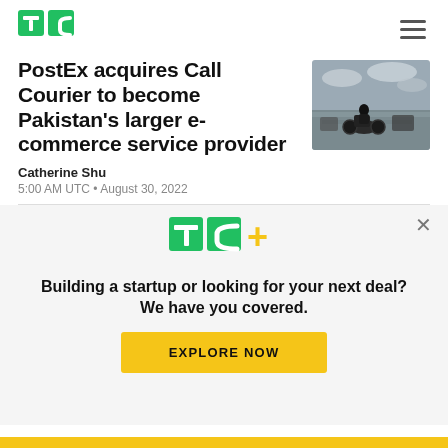TechCrunch logo and navigation menu
PostEx acquires Call Courier to become Pakistan's larger e-commerce service provider
[Figure (photo): Motorcyclist riding through traffic, blurred motion, outdoor street scene]
Catherine Shu
5:00 AM UTC • August 30, 2022
[Figure (logo): TC+ logo (TechCrunch Plus) in green with yellow plus sign]
Building a startup or looking for your next deal? We have you covered.
EXPLORE NOW